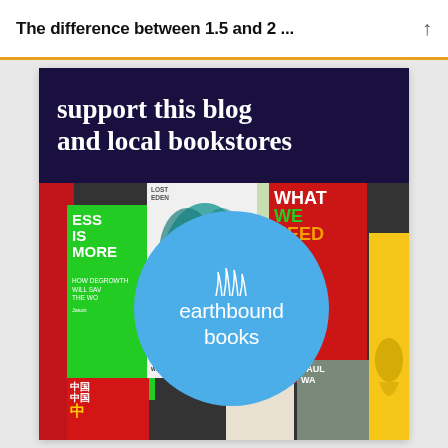The difference between 1.5 and 2 ...
[Figure (illustration): Earthbound Books advertisement banner showing 'support this blog and local bookstores' text on dark purple background above a collage of book covers with a large blue Earthbound Books circular logo in the center]